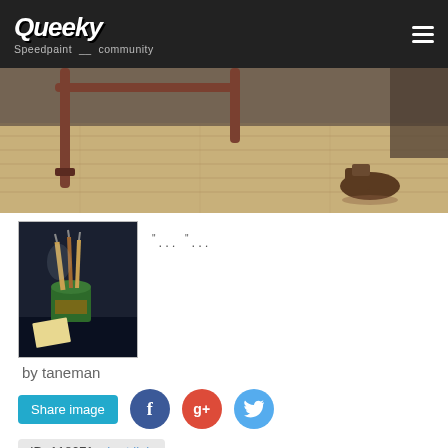Queeky Speedpaint community
[Figure (photo): Partial view of a wooden floor with metal furniture legs and a boot visible in the background]
[Figure (photo): Thumbnail artwork showing paintbrushes in a green jar against a dark background]
... ...
by taneman
Share image
ID: 118071, short link
Average:
Your rating: None (17 votes)